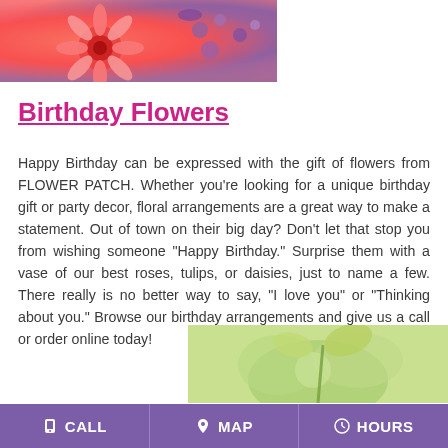[Figure (photo): Close-up photo of pink/red gerbera daisy and purple flowers]
Birthday Flowers
Happy Birthday can be expressed with the gift of flowers from FLOWER PATCH. Whether you're looking for a unique birthday gift or party decor, floral arrangements are a great way to make a statement. Out of town on their big day? Don't let that stop you from wishing someone "Happy Birthday." Surprise them with a vase of our best roses, tulips, or daisies, just to name a few. There really is no better way to say, "I love you" or "Thinking about you." Browse our birthday arrangements and give us a call or order online today!
[Figure (photo): Green/yellow floral arrangement photo]
CALL   MAP   HOURS